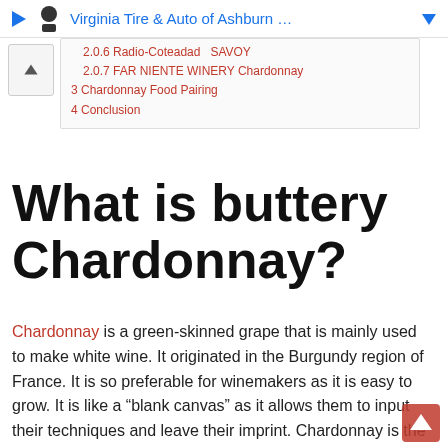Virginia Tire & Auto of Ashburn ...
2.0.6 Radio-Coteadad  SAVOY
2.0.7 FAR NIENTE WINERY Chardonnay
3 Chardonnay Food Pairing
4 Conclusion
What is buttery Chardonnay?
Chardonnay is a green-skinned grape that is mainly used to make white wine. It originated in the Burgundy region of France. It is so preferable for winemakers as it is easy to grow. It is like a “blank canvas” as it allows them to input their techniques and leave their imprint. Chardonnay is the most compelling white wine because it is the red wine of whites. It is very much interesting for its barrel